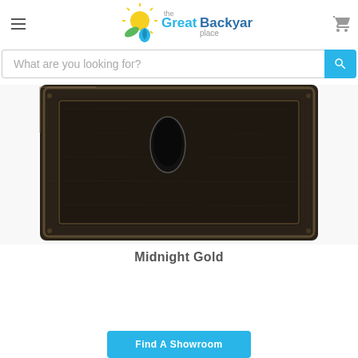The Great Backyard Place — navigation header with hamburger menu, logo, and cart icon
What are you looking for?
[Figure (photo): Close-up photo of a dark bronze/Midnight Gold finish decorative metal plate or mailbox front panel with raised frame border and a keyhole or slot opening, showing aged metallic texture]
Midnight Gold
Find A Showroom